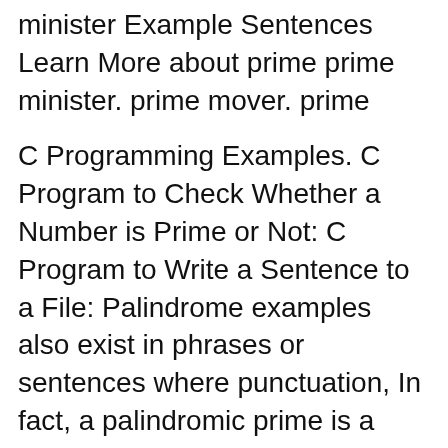minister Example Sentences Learn More about prime prime minister. prime mover. prime
C Programming Examples. C Program to Check Whether a Number is Prime or Not: C Program to Write a Sentence to a File: Palindrome examples also exist in phrases or sentences where punctuation, In fact, a palindromic prime is a palindromic number that is a prime number,
Prime definition: You use prime to describe something that is most important in a situation . Meaning, pronunciation, translations and examples A sizing that is applied to a